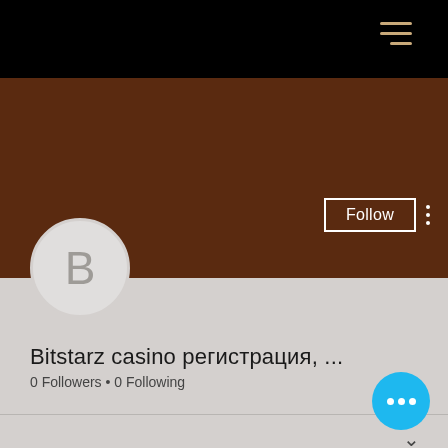[Figure (screenshot): Black top navigation bar with hamburger menu icon (three horizontal lines in tan/gold color) at top right]
[Figure (screenshot): Brown cover banner background]
Follow
[Figure (illustration): Circular avatar with letter B on light gray background]
Bitstarz casino регистрация, ...
0 Followers • 0 Following
[Figure (screenshot): Dropdown chevron row]
Profile
Join date: May 3, 2022